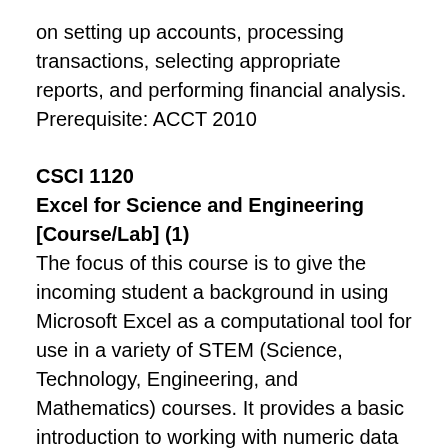on setting up accounts, processing transactions, selecting appropriate reports, and performing financial analysis. Prerequisite: ACCT 2010
CSCI 1120
Excel for Science and Engineering [Course/Lab] (1)
The focus of this course is to give the incoming student a background in using Microsoft Excel as a computational tool for use in a variety of STEM (Science, Technology, Engineering, and Mathematics) courses. It provides a basic introduction to working with numeric data in Excel, with an emphasis on being able to convert problems expressed in mathematical, scientific, and engineering terms into Excel. This is an introductory course. It is designed to be